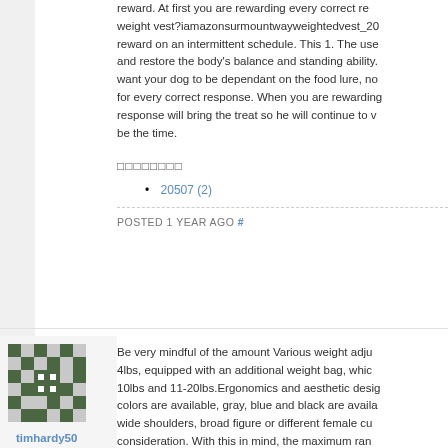reward. At first you are rewarding every correct response with a weight vest?iamazonsurmountwayweightedvest_20 reward on an intermittent schedule. This 1. The use and restore the body's balance and standing ability. want your dog to be dependant on the food lure, no for every correct response. When you are rewarding response will bring the treat so he will continue to v be the time.
□□□□□□□□
20507 (2)
POSTED 1 YEAR AGO #
[Figure (photo): User avatar for timhardy50 - a green and white geometric/pixel art pattern avatar]
timhardy50
Member
Be very mindful of the amount Various weight adju 4lbs, equipped with an additional weight bag, whic 10lbs and 11-20lbs.Ergonomics and aesthetic desig colors are available, gray, blue and black are availa wide shoulders, broad figure or different female cu consideration. With this in mind, the maximum ran motion are appropriately caused.High durability an high-quality and soft sweat-proof neoprene comfo